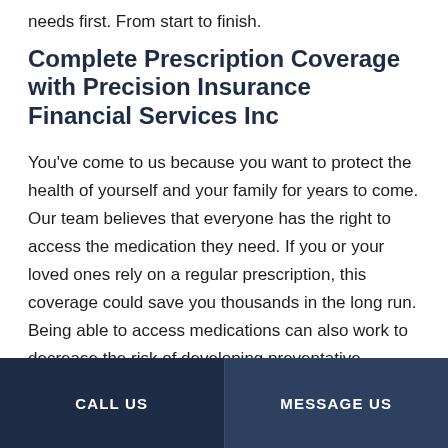needs first. From start to finish.
Complete Prescription Coverage with Precision Insurance Financial Services Inc
You've come to us because you want to protect the health of yourself and your family for years to come. Our team believes that everyone has the right to access the medication they need. If you or your loved ones rely on a regular prescription, this coverage could save you thousands in the long run. Being able to access medications can also work to decrease the risk of developing preventative conditions into the future.
CALL US | MESSAGE US